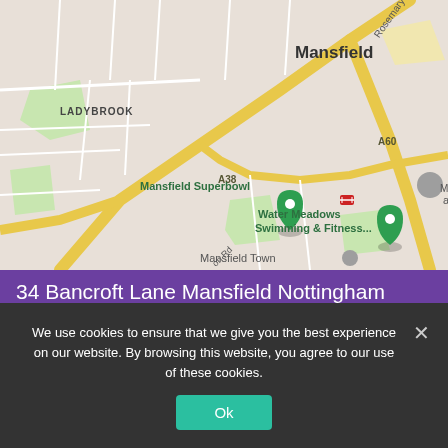[Figure (map): Google Maps screenshot showing Mansfield area including LADYBROOK neighbourhood, Mansfield Superbowl (green pin), Water Meadows Swimming & Fitness (green pin), Mansfield Town, roads A38 and A60, and Rosemary St.]
34 Bancroft Lane Mansfield Nottingham NG18 5LQ
Opening Hours Monday – Friday 9am – 5pm
We use cookies to ensure that we give you the best experience on our website. By browsing this website, you agree to our use of these cookies.